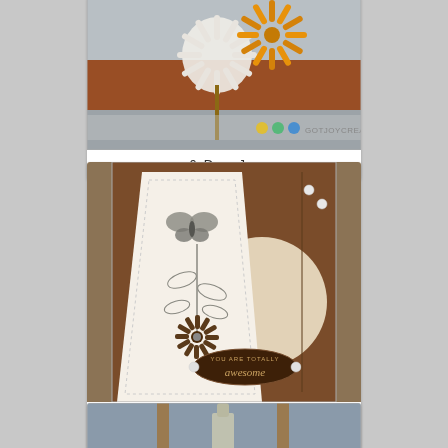[Figure (photo): Top cropped card showing handmade floral crafts with paper flowers on brown/grey patterned background, GOTJOYCREATIONS.BLO watermark visible]
6. Dana Joy
[Figure (photo): Handmade greeting card with butterfly and flower stamp on cream diagonal panel over brown textured background, oval label reading 'you are totally awesome', pearl embellishments]
7. Grateful Bunch for PPA 284 and Card Concept 47 • J
[Figure (photo): Bottom partially visible card showing a wine bottle against blue-grey background with wooden elements]